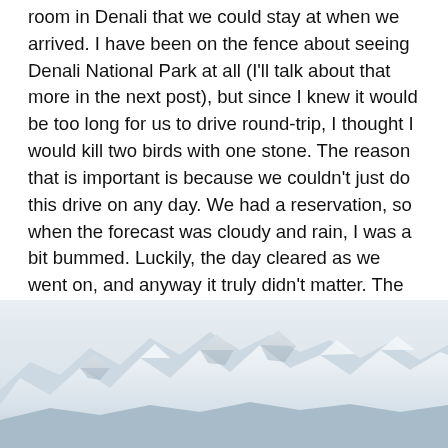room in Denali that we could stay at when we arrived.  I have been on the fence about seeing Denali National Park at all (I'll talk about that more in the next post), but since I knew it would be too long for us to drive round-trip, I thought I would kill two birds with one stone.  The reason that is important is because we couldn't just do this drive on any day.  We had a reservation, so when the forecast was cloudy and rain, I was a bit bummed.  Luckily, the day cleared as we went on, and anyway it truly didn't matter.  The vistas were so vast and the colors so rich, overcast or not, it was still amazing. And more importantly it was not one landscape for many miles.  It kept changing and surprising us.
[Figure (photo): Snow-capped mountain range with multiple peaks visible against a light sky, photographed in muted, overcast lighting with a pale blue-grey tone.]